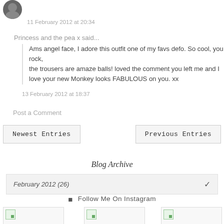[Figure (photo): Small circular avatar photo of a person]
11 February 2012 at 20:34
Princess and the pea x said...
Ams angel face, I adore this outfit one of my favs defo. So cool, you rock, the trousers are amaze balls! loved the comment you left me and I love your new Monkey looks FABULOUS on you. xx
13 February 2012 at 18:37
Post a Comment
Newest Entries
Previous Entries
Blog Archive
February 2012 (26)
Follow Me On Instagram
[Figure (photo): Instagram thumbnail image (broken)]
[Figure (photo): Instagram thumbnail image (broken)]
[Figure (photo): Instagram thumbnail image (broken)]